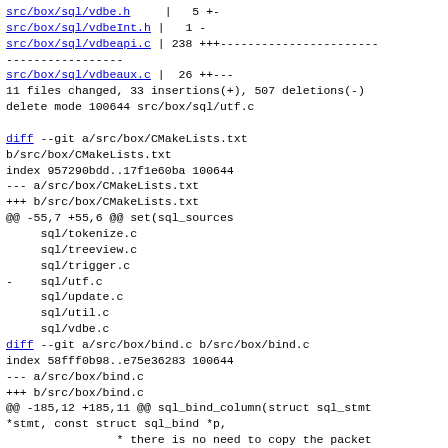src/box/sql/vdbe.h    |   5 +-
src/box/sql/vdbeInt.h |   1 -
src/box/sql/vdbeapi.c | 238 +++-----------------------
-----------------
src/box/sql/vdbeaux.c |  26 ++---
11 files changed, 33 insertions(+), 507 deletions(-)
delete mode 100644 src/box/sql/utf.c

diff --git a/src/box/CMakeLists.txt b/src/box/CMakeLists.txt
index 957290bdd..17f1e60ba 100644
--- a/src/box/CMakeLists.txt
+++ b/src/box/CMakeLists.txt
@@ -55,7 +55,6 @@ set(sql_sources
     sql/tokenize.c
     sql/treeview.c
     sql/trigger.c
-    sql/utf.c
     sql/update.c
     sql/util.c
     sql/vdbe.c
diff --git a/src/box/bind.c b/src/box/bind.c
index 58fff0b98..e75e36283 100644
--- a/src/box/bind.c
+++ b/src/box/bind.c
@@ -185,12 +185,11 @@ sql_bind_column(struct sql_stmt
*stmt, const struct sql_bind *p,
                 * there is no need to copy the packet
and we can
                 * use SQL_STATIC.